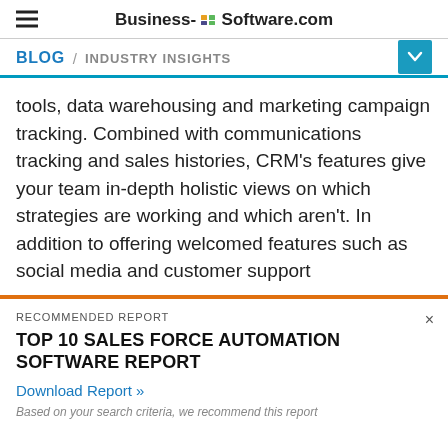Business-Software.com
BLOG / INDUSTRY INSIGHTS
tools, data warehousing and marketing campaign tracking. Combined with communications tracking and sales histories, CRM’s features give your team in-depth holistic views on which strategies are working and which aren’t. In addition to offering welcomed features such as social media and customer support
RECOMMENDED REPORT
TOP 10 SALES FORCE AUTOMATION SOFTWARE REPORT
Download Report »
Based on your search criteria, we recommend this report